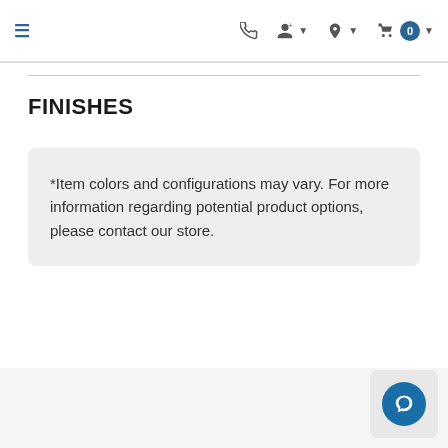Navigation bar with hamburger menu, phone, account, location, and cart icons
FINISHES
*Item colors and configurations may vary. For more information regarding potential product options, please contact our store.